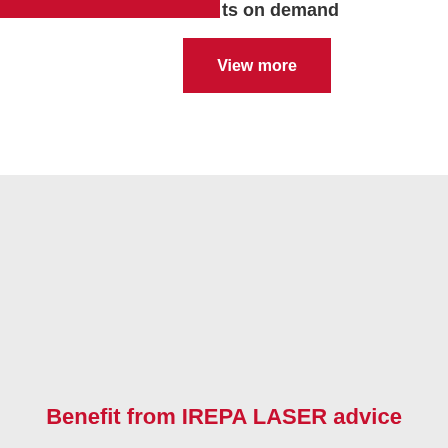ts on demand
[Figure (other): Red rectangular 'View more' button with white bold text on dark red background]
[Figure (photo): Large grey/light grey background section, likely containing an image or video placeholder]
Benefit from IREPA LASER advice